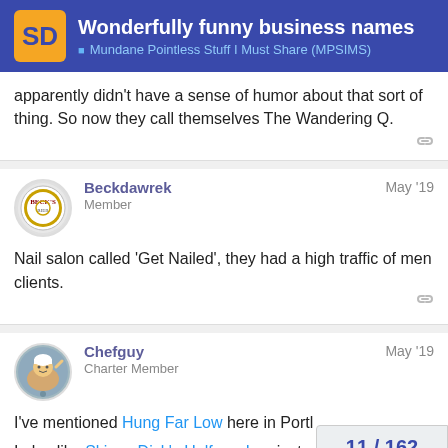Wonderfully funny business names — Mundane Pointless Stuff I Must Share (MPSIMS)
apparently didn't have a sense of humor about that sort of thing. So now they call themselves The Wandering Q.
Beckdawrek Member May '19
Nail salon called 'Get Nailed', they had a high traffic of men clients.
Chefguy Charter Member May '19
I've mentioned Hung Far Low here in Portl
I also like Skinny Dick's Halfway Inn, just a
11 / 162